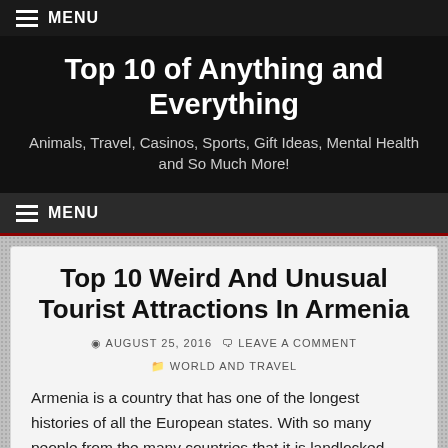MENU
Top 10 of Anything and Everything
Animals, Travel, Casinos, Sports, Gift Ideas, Mental Health and So Much More!
MENU
Top 10 Weird And Unusual Tourist Attractions In Armenia
AUGUST 25, 2016   LEAVE A COMMENT   WORLD AND TRAVEL
Armenia is a country that has one of the longest histories of all the European states. With so many people from the many countries that it is landlocked with, this is a country with far too many amazing things to name here, but I think ten of the very best of them...